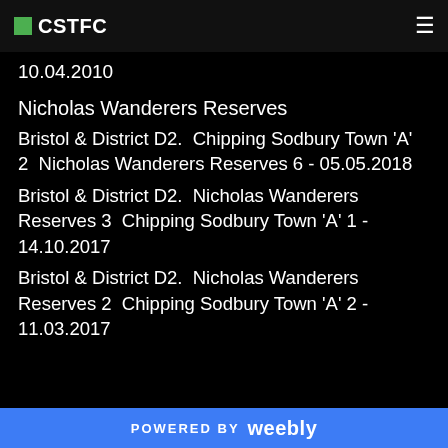CSTFC
10.04.2010
Nicholas Wanderers Reserves
Bristol & District D2.  Chipping Sodbury Town 'A' 2  Nicholas Wanderers Reserves 6 - 05.05.2018
Bristol & District D2.  Nicholas Wanderers Reserves 3  Chipping Sodbury Town 'A' 1 - 14.10.2017
Bristol & District D2.  Nicholas Wanderers Reserves 2  Chipping Sodbury Town 'A' 2 - 11.03.2017
POWERED BY weebly